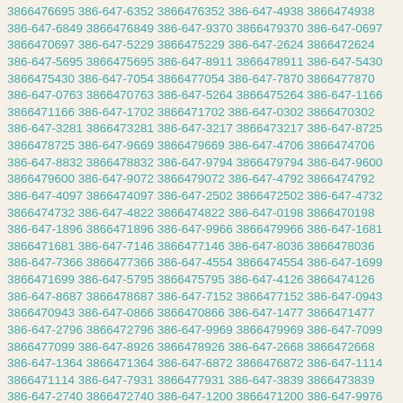3866476695 386-647-6352 3866476352 386-647-4938 3866474938 386-647-6849 3866476849 386-647-9370 3866479370 386-647-0697 3866470697 386-647-5229 3866475229 386-647-2624 3866472624 386-647-5695 3866475695 386-647-8911 3866478911 386-647-5430 3866475430 386-647-7054 3866477054 386-647-7870 3866477870 386-647-0763 3866470763 386-647-5264 3866475264 386-647-1166 3866471166 386-647-1702 3866471702 386-647-0302 3866470302 386-647-3281 3866473281 386-647-3217 3866473217 386-647-8725 3866478725 386-647-9669 3866479669 386-647-4706 3866474706 386-647-8832 3866478832 386-647-9794 3866479794 386-647-9600 3866479600 386-647-9072 3866479072 386-647-4792 3866474792 386-647-4097 3866474097 386-647-2502 3866472502 386-647-4732 3866474732 386-647-4822 3866474822 386-647-0198 3866470198 386-647-1896 3866471896 386-647-9966 3866479966 386-647-1681 3866471681 386-647-7146 3866477146 386-647-8036 3866478036 386-647-7366 3866477366 386-647-4554 3866474554 386-647-1699 3866471699 386-647-5795 3866475795 386-647-4126 3866474126 386-647-8687 3866478687 386-647-7152 3866477152 386-647-0943 3866470943 386-647-0866 3866470866 386-647-1477 3866471477 386-647-2796 3866472796 386-647-9969 3866479969 386-647-7099 3866477099 386-647-8926 3866478926 386-647-2668 3866472668 386-647-1364 3866471364 386-647-6872 3866476872 386-647-1114 3866471114 386-647-7931 3866477931 386-647-3839 3866473839 386-647-2740 3866472740 386-647-1200 3866471200 386-647-9976 3866479976 386-647-5793 3866475793 386-647-8223 3866478223 386-647-1517 3866471517 386-647-5830 3866475830 386-647-9709 3866479709 386-647-8573 3866478573 386-647-6821 3866476821 386-